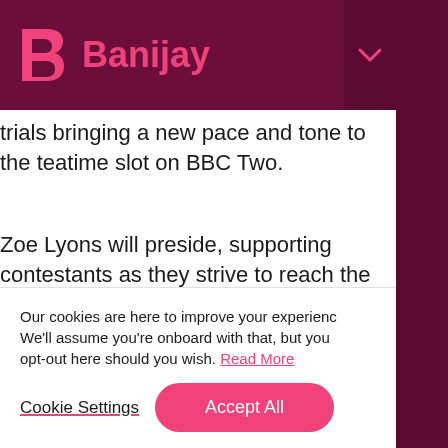Banijay
trials bringing a new pace and tone to the teatime slot on BBC Two.
Zoe Lyons will preside, supporting contestants as they strive to reach the ultimate goal of £3,000 prize money.
Lightning is filmed in Northern Ireland with support from Northern Ireland Screen.
Our cookies are here to improve your experience. We'll assume you're onboard with that, but you can opt-out here should you wish. Read More
Cookie Settings  Accept All